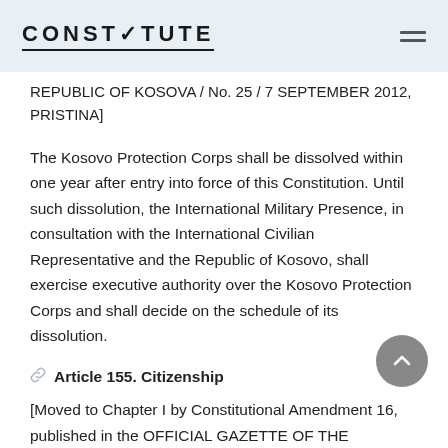CONSTITUTE
REPUBLIC OF KOSOVA / No. 25 / 7 SEPTEMBER 2012, PRISTINA]
The Kosovo Protection Corps shall be dissolved within one year after entry into force of this Constitution. Until such dissolution, the International Military Presence, in consultation with the International Civilian Representative and the Republic of Kosovo, shall exercise executive authority over the Kosovo Protection Corps and shall decide on the schedule of its dissolution.
Article 155. Citizenship
[Moved to Chapter I by Constitutional Amendment 16, published in the OFFICIAL GAZETTE OF THE